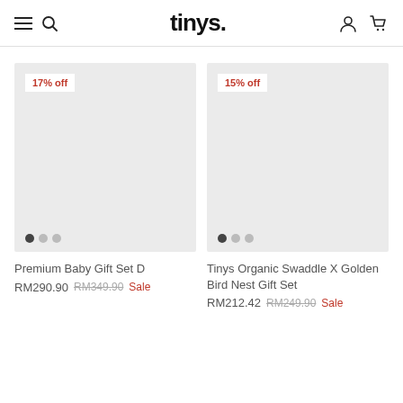tinys.
[Figure (screenshot): Product card for Premium Baby Gift Set D with 17% off badge and image carousel dots]
Premium Baby Gift Set D
RM290.90  RM349.90  Sale
[Figure (screenshot): Product card for Tinys Organic Swaddle X Golden Bird Nest Gift Set with 15% off badge and image carousel dots]
Tinys Organic Swaddle X Golden Bird Nest Gift Set
RM212.42  RM249.90  Sale